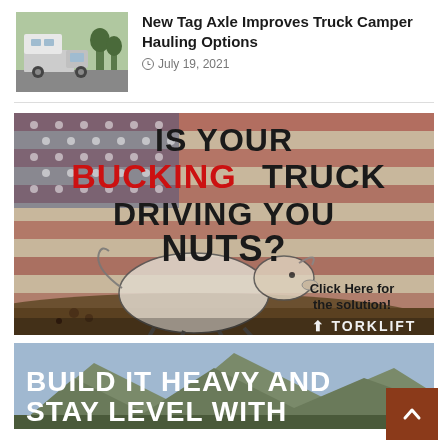[Figure (photo): Thumbnail photo of a truck camper (white cab-over camper on a truck) parked outdoors]
New Tag Axle Improves Truck Camper Hauling Options
July 19, 2021
[Figure (illustration): Advertisement banner for Torklift: 'IS YOUR BUCKING TRUCK DRIVING YOU NUTS?' with an illustration of a bucking bull over an American flag background, and text 'Click Here for the solution!' with Torklift logo at bottom.]
[Figure (photo): Bottom advertisement banner showing outdoor mountain scene with text 'BUILD IT HEAVY AND STAY LEVEL WITH']